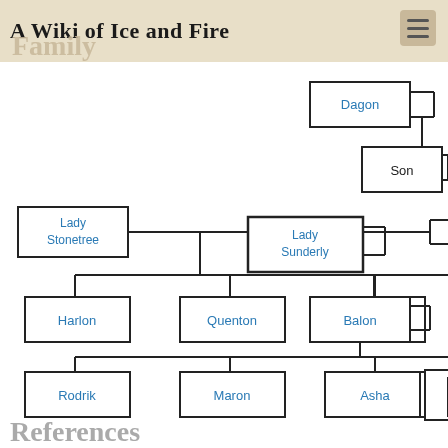A Wiki of Ice and Fire
Family
[Figure (organizational-chart): Family tree showing Dagon with a son, Lady Stonetree connected to Lady Sunderly, with children Harlon, Quenton, Donel, Balon, and Balon's children Rodrik, Maron, Asha (married to Erik Ironmaker)]
References